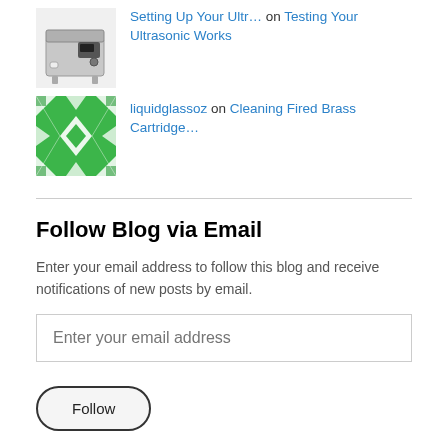[Figure (photo): Thumbnail image of an ultrasonic cleaner machine (gray/silver device)]
Setting Up Your Ultr… on Testing Your Ultrasonic Works
[Figure (illustration): Green geometric quilt/tile pattern avatar for user liquidglassoz]
liquidglassoz on Cleaning Fired Brass Cartridge…
Follow Blog via Email
Enter your email address to follow this blog and receive notifications of new posts by email.
Enter your email address
Follow
Join 2 other followers
Archives